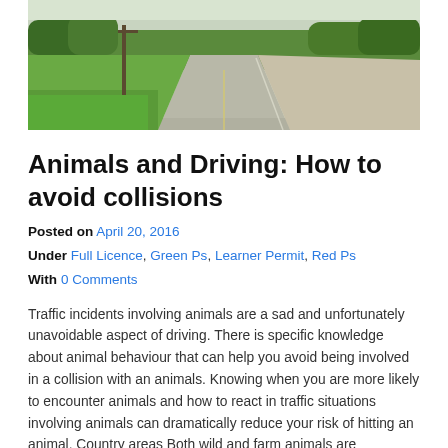[Figure (photo): A rural two-lane road with green grassy shoulders, a utility pole on the left, and trees in the background under a clear sky.]
Animals and Driving: How to avoid collisions
Posted on April 20, 2016
Under Full Licence, Green Ps, Learner Permit, Red Ps
With 0 Comments
Traffic incidents involving animals are a sad and unfortunately unavoidable aspect of driving. There is specific knowledge about animal behaviour that can help you avoid being involved in a collision with an animals. Knowing when you are more likely to encounter animals and how to react in traffic situations involving animals can dramatically reduce your risk of hitting an animal. Country areas Both wild and farm animals are frequently encountered on country roads. Although unfortunate, the animals gather near the road because water